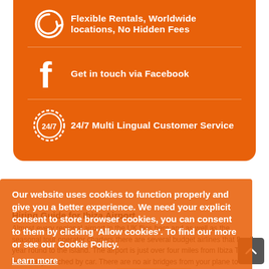[Figure (infographic): Orange feature box with three rows: refresh icon + 'Flexible Rentals, Worldwide locations, No Hidden Fees'; Facebook icon + 'Get in touch via Facebook'; 24/7 clock icon + '24/7 Multi Lingual Customer Service']
Our website uses cookies to function properly and give you a better experience. We need your explicit consent to store browser cookies, you can consent to them by clicking 'Allow cookies'. To find our more or see our Cookie Policy.
Learn more
Allow Cookies
Hiring Guide for Ibiza Airport
Almost every regional airport in the UK flies here and as well as the seasonal tour operator charters there are several budget airlines that fly all-year round to the island. The airport is just over four miles from Ibiza Town and easily reached by car. There are no air bridges from your plane to the terminal and on arriving you are expected to cross from the aircraft steps to the staircases that take you up to the arrivals level. From there you will pass through passport control and on to collect your luggage. The arrivals hall is long and narrow, and the